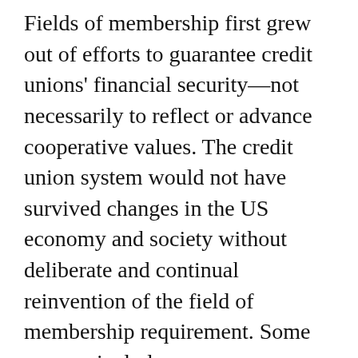Fields of membership first grew out of efforts to guarantee credit unions' financial security—not necessarily to reflect or advance cooperative values. The credit union system would not have survived changes in the US economy and society without deliberate and continual reinvention of the field of membership requirement. Some reasons include: